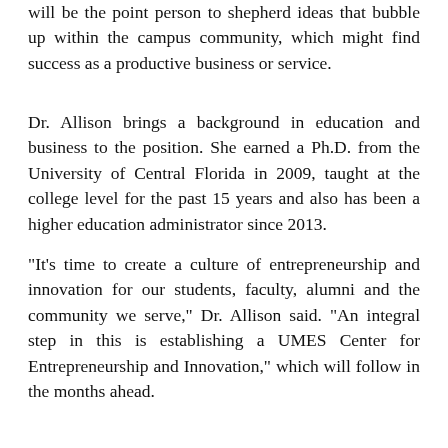will be the point person to shepherd ideas that bubble up within the campus community, which might find success as a productive business or service.
Dr. Allison brings a background in education and business to the position. She earned a Ph.D. from the University of Central Florida in 2009, taught at the college level for the past 15 years and also has been a higher education administrator since 2013.
"It's time to create a culture of entrepreneurship and innovation for our students, faculty, alumni and the community we serve," Dr. Allison said. "An integral step in this is establishing a UMES Center for Entrepreneurship and Innovation," which will follow in the months ahead.